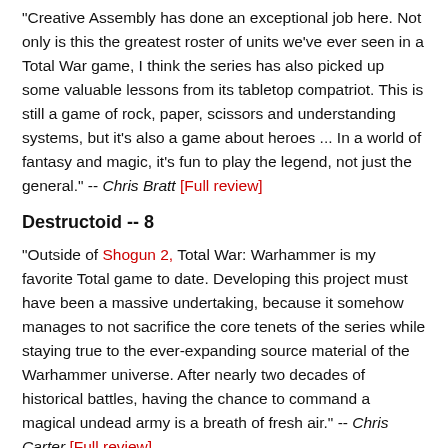"Creative Assembly has done an exceptional job here. Not only is this the greatest roster of units we've ever seen in a Total War game, I think the series has also picked up some valuable lessons from its tabletop compatriot. This is still a game of rock, paper, scissors and understanding systems, but it's also a game about heroes ... In a world of fantasy and magic, it's fun to play the legend, not just the general." -- Chris Bratt [Full review]
Destructoid -- 8
"Outside of Shogun 2, Total War: Warhammer is my favorite Total game to date. Developing this project must have been a massive undertaking, because it somehow manages to not sacrifice the core tenets of the series while staying true to the ever-expanding source material of the Warhammer universe. After nearly two decades of historical battles, having the chance to command a magical undead army is a breath of fresh air." -- Chris Carter [Full review]
IGN -- 8.6
"Total War: Warhammer is brimming with exciting ideas...